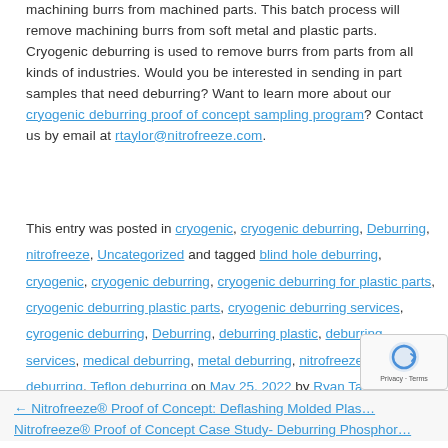machining burrs from machined parts. This batch process will remove machining burrs from soft metal and plastic parts. Cryogenic deburring is used to remove burrs from parts from all kinds of industries. Would you be interested in sending in part samples that need deburring? Want to learn more about our cryogenic deburring proof of concept sampling program? Contact us by email at rtaylor@nitrofreeze.com.
This entry was posted in cryogenic, cryogenic deburring, Deburring, nitrofreeze, Uncategorized and tagged blind hole deburring, cryogenic, cryogenic deburring, cryogenic deburring for plastic parts, cryogenic deburring plastic parts, cryogenic deburring services, cyrogenic deburring, Deburring, deburring plastic, deburring services, medical deburring, metal deburring, nitrofreeze, nitrofreeze deburring, Teflon deburring on May 25, 2022 by Ryan Taylor.
← Nitrofreeze® Proof of Concept: Deflashing Molded Plas... Nitrofreeze® Proof of Concept Case Study- Deburring Phosphor...